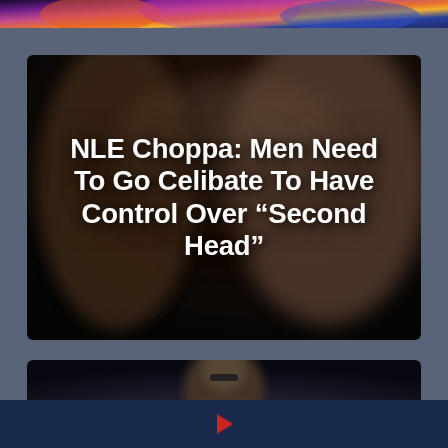[Figure (photo): Colorful abstract or concert image strip, partially visible at top of page]
[Figure (photo): Dark blurred photo of two people as background for article card about NLE Choppa]
NLE Choppa: Men Need To Go Celibate To Have Control Over “Second Head”
[Figure (photo): Partially visible photo of a person with sunglasses in lower card]
[Figure (other): Play button icon on dark navy bar at bottom of page]